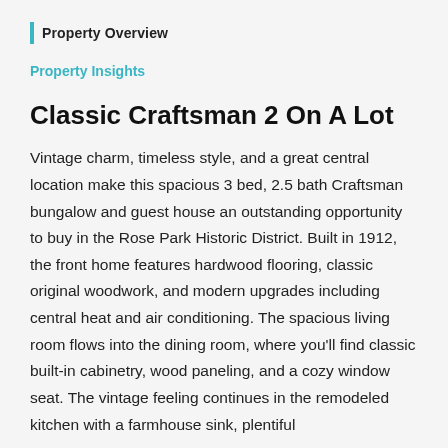Property Overview
Property Insights
Classic Craftsman 2 On A Lot
Vintage charm, timeless style, and a great central location make this spacious 3 bed, 2.5 bath Craftsman bungalow and guest house an outstanding opportunity to buy in the Rose Park Historic District. Built in 1912, the front home features hardwood flooring, classic original woodwork, and modern upgrades including central heat and air conditioning. The spacious living room flows into the dining room, where you'll find classic built-in cabinetry, wood paneling, and a cozy window seat. The vintage feeling continues in the remodeled kitchen with a farmhouse sink, plentiful